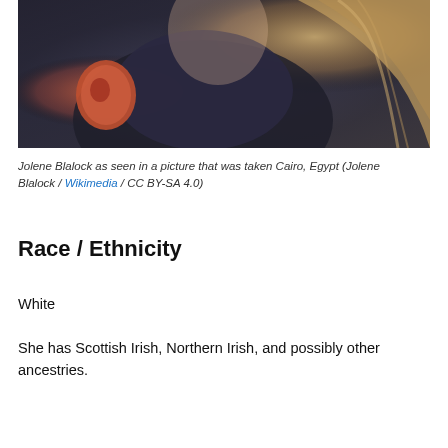[Figure (photo): Close-up photo of Jolene Blalock wearing a dark top, with long wavy hair, taken in Cairo, Egypt]
Jolene Blalock as seen in a picture that was taken Cairo, Egypt (Jolene Blalock / Wikimedia / CC BY-SA 4.0)
Race / Ethnicity
White
She has Scottish Irish, Northern Irish, and possibly other ancestries.